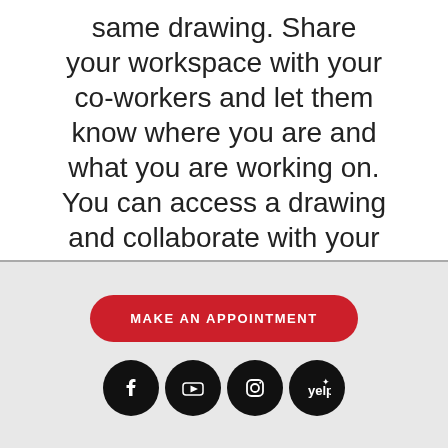same drawing. Share your workspace with your co-workers and let them know where you are and what you are working on. You can access a drawing and collaborate with your co- 2be273e24d
[Figure (infographic): Footer section with a red 'MAKE AN APPOINTMENT' button and four social media icons (Facebook, YouTube, Instagram, Yelp) on a light grey background.]